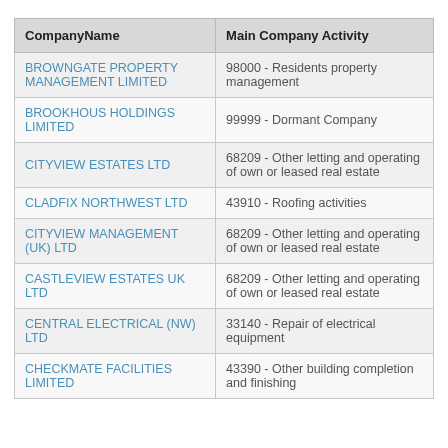| CompanyName | Main Company Activity |
| --- | --- |
| BROWNGATE PROPERTY MANAGEMENT LIMITED | 98000 - Residents property management |
| BROOKHOUS HOLDINGS LIMITED | 99999 - Dormant Company |
| CITYVIEW ESTATES LTD | 68209 - Other letting and operating of own or leased real estate |
| CLADFIX NORTHWEST LTD | 43910 - Roofing activities |
| CITYVIEW MANAGEMENT (UK) LTD | 68209 - Other letting and operating of own or leased real estate |
| CASTLEVIEW ESTATES UK LTD | 68209 - Other letting and operating of own or leased real estate |
| CENTRAL ELECTRICAL (NW) LTD | 33140 - Repair of electrical equipment |
| CHECKMATE FACILITIES LIMITED | 43390 - Other building completion and finishing |